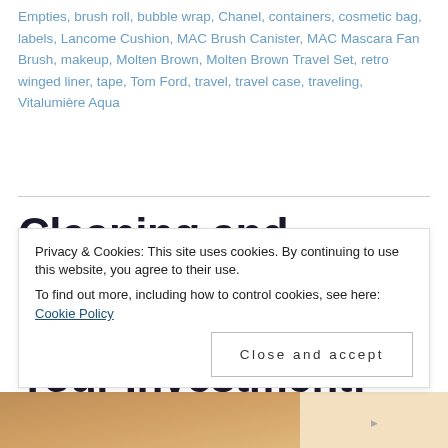Empties, brush roll, bubble wrap, Chanel, containers, cosmetic bag, labels, Lancome Cushion, MAC Brush Canister, MAC Mascara Fan Brush, makeup, Molten Brown, Molten Brown Travel Set, retro winged liner, tape, Tom Ford, travel, travel case, traveling, Vitalumière Aqua
Cleaning and Caring for Your Brushes – Protect Your Investment!
Privacy & Cookies: This site uses cookies. By continuing to use this website, you agree to their use. To find out more, including how to control cookies, see here: Cookie Policy
Close and accept
[Figure (photo): Partial photo visible at bottom of page showing makeup brushes or beauty items in warm brown tones]